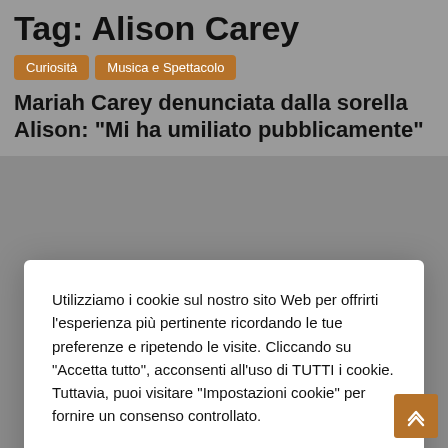Tag: Alison Carey
Curiosità
Musica e Spettacolo
Mariah Carey denunciata dalla sorella Alison: “Mi ha umiliato pubblicamente”
Utilizziamo i cookie sul nostro sito Web per offrirti l’esperienza più pertinente ricordando le tue preferenze e ripetendo le visite. Cliccando su "Accetta tutto", acconsenti all'uso di TUTTI i cookie. Tuttavia, puoi visitare "Impostazioni cookie" per fornire un consenso controllato.
Cookie Impostazioni
Accetta tutti